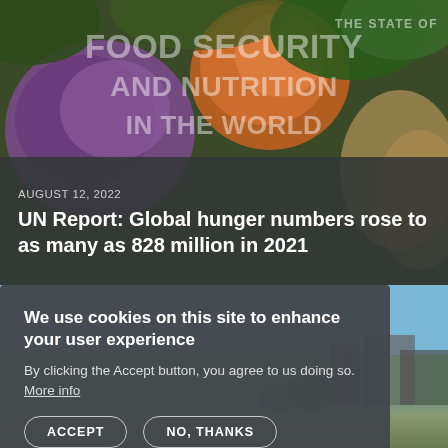[Figure (photo): Cover image of the UN report 'The State of Food Security and Nutrition in the World' showing vegetables including purple cauliflower and a pumpkin/squash, with the report title overlaid in large white text. A dark semi-transparent band at the bottom contains the article date and headline.]
AUGUST 12, 2022
UN Report: Global hunger numbers rose to as many as 828 million in 2021
[Figure (photo): Background photo of a city scene partly obscured by a cookie consent popup overlay.]
We use cookies on this site to enhance your user experience
By clicking the Accept button, you agree to us doing so. More info
[ACCEPT] [NO, THANKS]